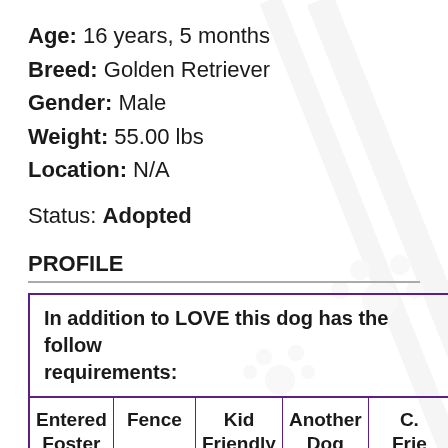Age: 16 years, 5 months
Breed: Golden Retriever
Gender: Male
Weight: 55.00 lbs
Location: N/A
Status: Adopted
PROFILE
In addition to LOVE this dog has the following requirements:
| Entered Foster Care | Fence | Kid Friendly | Another Dog | C. Frie... |
| --- | --- | --- | --- | --- |